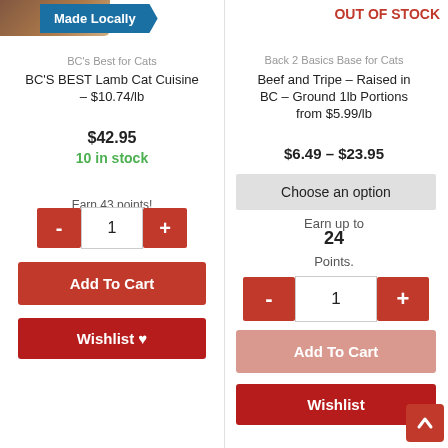[Figure (screenshot): Product image top-left corner (partial, brown/dark)]
Made Locally
BC's Best for Cats
BC'S BEST Lamb Cat Cuisine – $10.74/lb
$42.95
10 in stock
Earn 43 points!
Add To Cart
Wishlist ♥
OUT OF STOCK
Back 2 Basics Base for Cats
Beef and Tripe – Raised in BC – Ground 1lb Portions from $5.99/lb
$6.49 – $23.95
Choose an option
Earn up to
24
Points.
Add To Cart
Wishlist